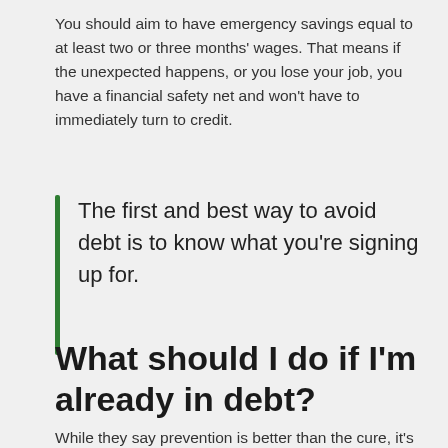You should aim to have emergency savings equal to at least two or three months' wages. That means if the unexpected happens, or you lose your job, you have a financial safety net and won't have to immediately turn to credit.
The first and best way to avoid debt is to know what you're signing up for.
What should I do if I'm already in debt?
While they say prevention is better than the cure, it's